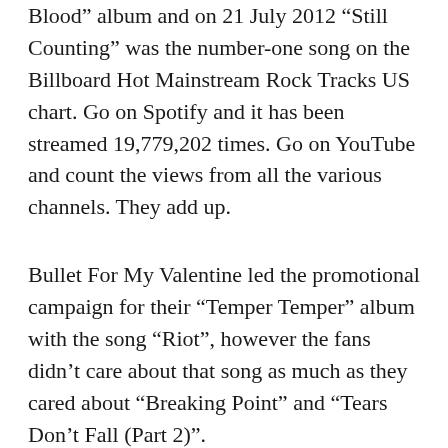Blood” album and on 21 July 2012 “Still Counting” was the number-one song on the Billboard Hot Mainstream Rock Tracks US chart. Go on Spotify and it has been streamed 19,779,202 times. Go on YouTube and count the views from all the various channels. They add up.
Bullet For My Valentine led the promotional campaign for their “Temper Temper” album with the song “Riot”, however the fans didn’t care about that song as much as they cared about “Breaking Point” and “Tears Don’t Fall (Part 2)”.